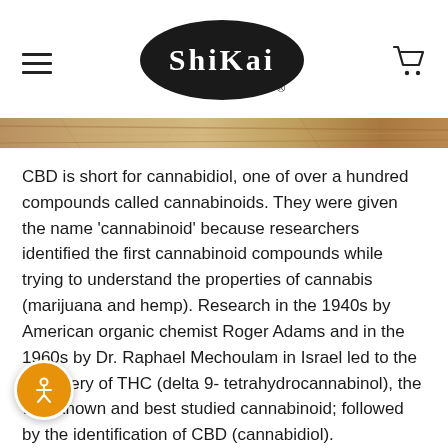ShiKai
[Figure (photo): Hero strip image showing a textured natural/botanical background in warm brown and gold tones]
CBD is short for cannabidiol, one of over a hundred compounds called cannabinoids. They were given the name 'cannabinoid' because researchers identified the first cannabinoid compounds while trying to understand the properties of cannabis (marijuana and hemp). Research in the 1940s by American organic chemist Roger Adams and in the 1960s by Dr. Raphael Mechoulam in Israel led to the discovery of THC (delta 9- tetrahydrocannabinol), the well-known and best studied cannabinoid; followed by the identification of CBD (cannabidiol).
[Figure (logo): Accessibility icon button - orange circle with person/wheelchair symbol]